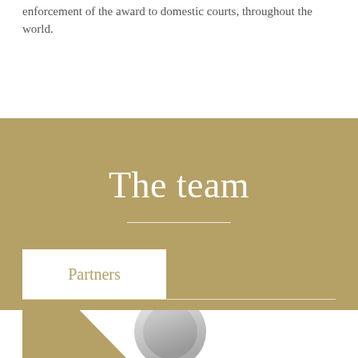enforcement of the award to domestic courts, throughout the world.
The team
Partners
[Figure (photo): Partial view of a person's photo (head/shoulders) at the bottom of the page, with a gold triangular shape partially overlapping from the left side.]